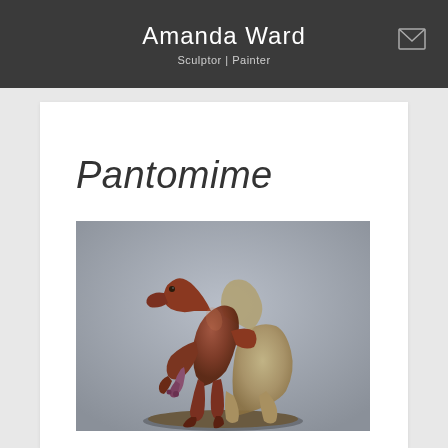Amanda Ward
Sculptor | Painter
Pantomime
[Figure (photo): A ceramic or clay sculpture of two fantastical humanoid figures, one with a horse-like or bird-like head, in a dynamic pose against a gray background.]